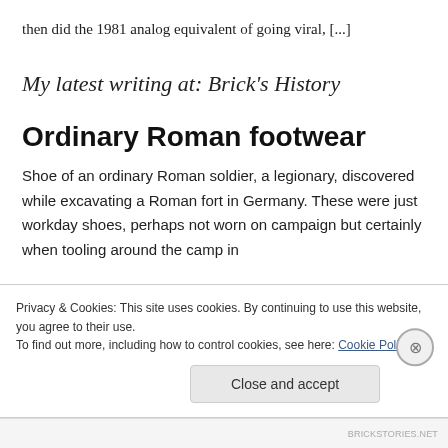then did the 1981 analog equivalent of going viral, [...]
My latest writing at: Brick's History
Ordinary Roman footwear
Shoe of an ordinary Roman soldier, a legionary, discovered while excavating a Roman fort in Germany. These were just workday shoes, perhaps not worn on campaign but certainly when tooling around the camp in
Privacy & Cookies: This site uses cookies. By continuing to use this website, you agree to their use.
To find out more, including how to control cookies, see here: Cookie Policy
Close and accept